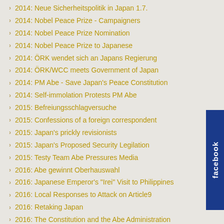2014: Neue Sicherheitspolitik in Japan 1.7.
2014: Nobel Peace Prize - Campaigners
2014: Nobel Peace Prize Nomination
2014: Nobel Peace Prize to Japanese
2014: ÖRK wendet sich an Japans Regierung
2014: ÖRK/WCC meets Government of Japan
2014: PM Abe - Save Japan's Peace Constitution
2014: Self-immolation Protests PM Abe
2015: Befreiungsschlagversuche
2015: Confessions of a foreign correspondent
2015: Japan's prickly revisionists
2015: Japan's Proposed Security Legilation
2015: Testy Team Abe Pressures Media
2016: Abe gewinnt Oberhauswahl
2016: Japanese Emperor's "Irei" Visit to Philippines
2016: Local Responses to Attack on Article9
2016: Retaking Japan
2016: The Constitution and the Abe Administration
2017: Hate Korean Campaign
2017: Unterhauswahl